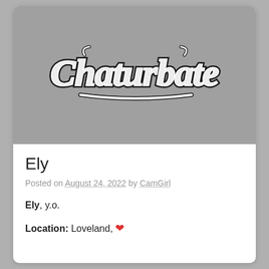[Figure (logo): Chaturbate logo on gray background]
Ely
Posted on August 24, 2022 by CamGirl
Ely, y.o.
Location: Loveland, ❤